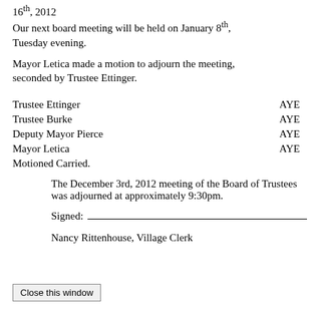16th, 2012
Our next board meeting will be held on January 8th, Tuesday evening.
Mayor Letica made a motion to adjourn the meeting, seconded by Trustee Ettinger.
Trustee Ettinger   AYE
Trustee Burke   AYE
Deputy Mayor Pierce   AYE
Mayor Letica   AYE
Motioned Carried.
The December 3rd, 2012 meeting of the Board of Trustees was adjourned at approximately 9:30pm.
Signed:
Nancy Rittenhouse, Village Clerk